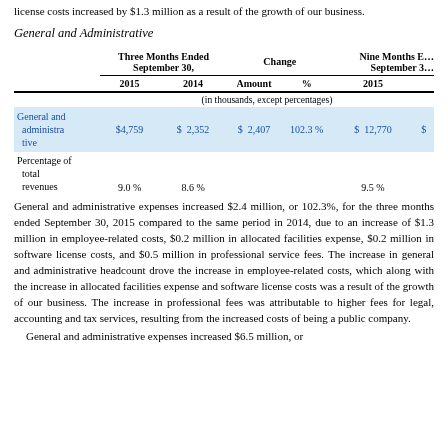license costs increased by $1.3 million as a result of the growth of our business.
General and Administrative
|  | Three Months Ended September 30, 2015 | Three Months Ended September 30, 2014 | Change Amount | Change % | Nine Months Ended September 30, 2015 |
| --- | --- | --- | --- | --- | --- |
| (in thousands, except percentages) |
| General and administrative | $4,759 | $ 2,352 | $ 2,407 | 102.3 % | $ 12,770 | $ |
| Percentage of total revenues | 9.0 % | 8.6 % |  |  | 9.5 % |  |
General and administrative expenses increased $2.4 million, or 102.3%, for the three months ended September 30, 2015 compared to the same period in 2014, due to an increase of $1.3 million in employee-related costs, $0.2 million in allocated facilities expense, $0.2 million in software license costs, and $0.5 million in professional service fees. The increase in general and administrative headcount drove the increase in employee-related costs, which along with the increase in allocated facilities expense and software license costs was a result of the growth of our business. The increase in professional fees was attributable to higher fees for legal, accounting and tax services, resulting from the increased costs of being a public company.
General and administrative expenses increased $6.5 million, or